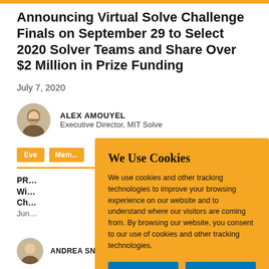Announcing Virtual Solve Challenge Finals on September 29 to Select 2020 Solver Teams and Share Over $2 Million in Prize Funding
July 7, 2020
ALEX AMOUYEL
Executive Director, MIT Solve
Eve[nts]   [Membership]
PR[...]
Wi[...]
Ch[...]
Jun[e ...]
[Figure (other): Cookie consent overlay on yellow/amber background with title 'We Use Cookies', body text about cookies and tracking, and two blue buttons: ACCEPT and REJECT]
ANDREA SNYDER